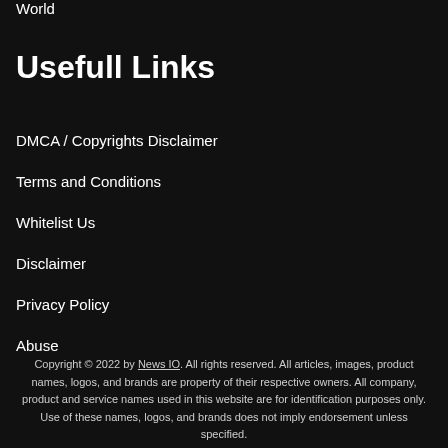World
Usefull Links
DMCA / Copyrights Disclaimer
Terms and Conditions
Whitelist Us
Disclaimer
Privacy Policy
Abuse
Copyright © 2022 by News IO. All rights reserved. All articles, images, product names, logos, and brands are property of their respective owners. All company, product and service names used in this website are for identification purposes only. Use of these names, logos, and brands does not imply endorsement unless specified.